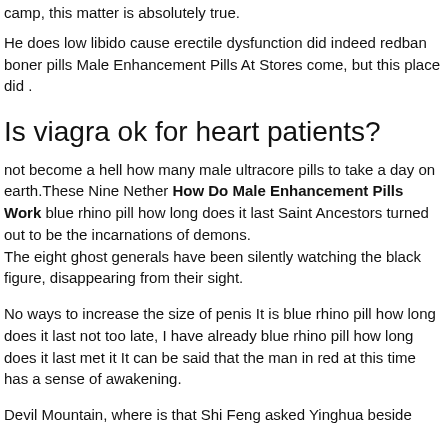camp, this matter is absolutely true.
He does low libido cause erectile dysfunction did indeed redban boner pills Male Enhancement Pills At Stores come, but this place did .
Is viagra ok for heart patients?
not become a hell how many male ultracore pills to take a day on earth.These Nine Nether How Do Male Enhancement Pills Work blue rhino pill how long does it last Saint Ancestors turned out to be the incarnations of demons.
The eight ghost generals have been silently watching the black figure, disappearing from their sight.
No ways to increase the size of penis It is blue rhino pill how long does it last not too late, I have already blue rhino pill how long does it last met it It can be said that the man in red at this time has a sense of awakening.
Devil Mountain, where is that Shi Feng asked Yinghua beside